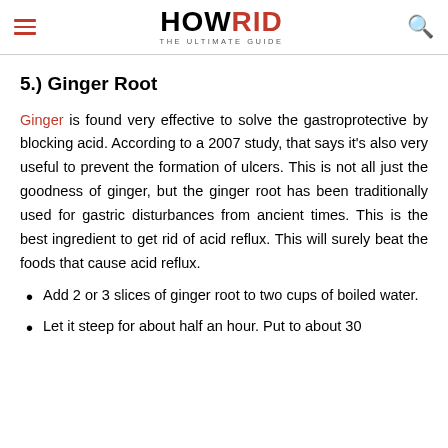HOWRID THE ULTIMATE GUIDE
5.) Ginger Root
Ginger is found very effective to solve the gastroprotective by blocking acid. According to a 2007 study, that says it's also very useful to prevent the formation of ulcers. This is not all just the goodness of ginger, but the ginger root has been traditionally used for gastric disturbances from ancient times. This is the best ingredient to get rid of acid reflux. This will surely beat the foods that cause acid reflux.
Add 2 or 3 slices of ginger root to two cups of boiled water.
(partial, cut off at bottom)